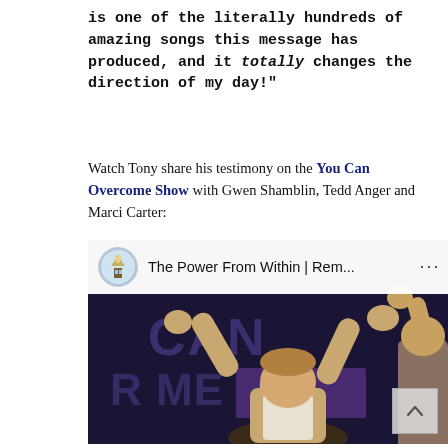is one of the literally hundreds of amazing songs this message has produced, and it totally changes the direction of my day!"
Watch Tony share his testimony on the You Can Overcome Show with Gwen Shamblin, Tedd Anger and Marci Carter:
[Figure (screenshot): YouTube video thumbnail showing 'The Power From Within | Rem...' with a channel icon (church/tower building) on the left, video title in the top bar, three-dot menu on the right, and a dark scene below showing a man raising his fists on a stage with 'YOU CAN OVERCOME' text visible in the background. A scroll-up button appears in the bottom right.]